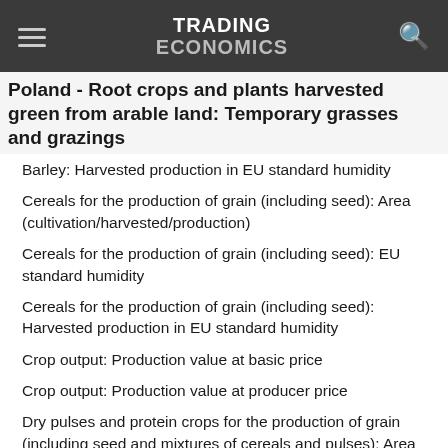TRADING ECONOMICS
Poland - Root crops and plants harvested green from arable land: Temporary grasses and grazings
Barley: Harvested production in EU standard humidity
Cereals for the production of grain (including seed): Area (cultivation/harvested/production)
Cereals for the production of grain (including seed): EU standard humidity
Cereals for the production of grain (including seed): Harvested production in EU standard humidity
Crop output: Production value at basic price
Crop output: Production value at producer price
Dry pulses and protein crops for the production of grain (including seed and mixtures of cereals and pulses): Area (cultivation/harvested/production)
Dry pulses and protein crops for the production of grain (including seed and mixtures of cereals and pulses): EU standard humidity
Dry pulses and protein crops for the production of grain (including seed and mixtures of cereals and pulses):